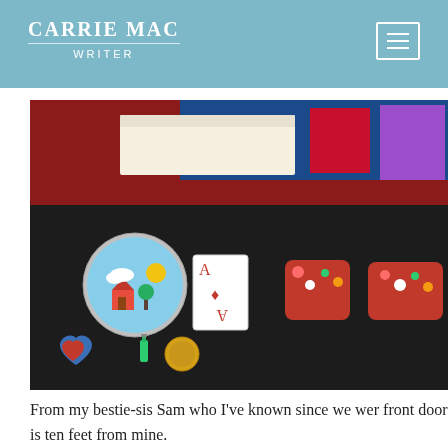CARRIE MAC WRITER
[Figure (photo): Flat-lay photograph on a dark surface showing a tin with a painted house and sun scene, an ace of diamonds playing card, a blue ceramic heart with red heart design, a small green glass bottle, a gold coin/medallion, two red floral fabric pouches, and some books/items on a red tray in the background.]
From my bestie-sis Sam who I've known since we wer front door is ten feet from mine.